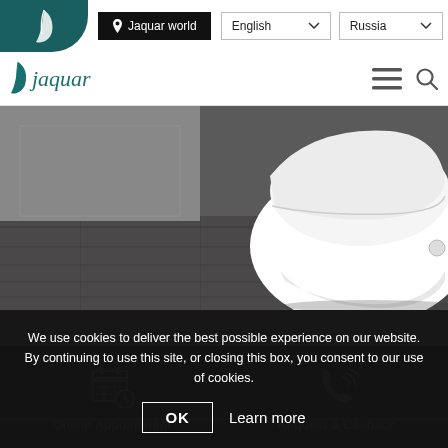Jaquar world  English  Russia
[Figure (logo): Jaquar brand logo with teal feather icon and 'Jaquar' wordmark in teal italic font]
[Figure (photo): Close-up product photo of a white modern wall-hung toilet against dark wood flooring and grey wall background]
We use cookies to deliver the best possible experience on our website. By continuing to use this site, or closing this box, you consent to our use of cookies.
OK  Learn more
[Figure (illustration): Calendar icon representing Online Appointment]
Online Appointment
[Figure (illustration): Phone with signal waves icon representing Request a Callback]
Request a Callback